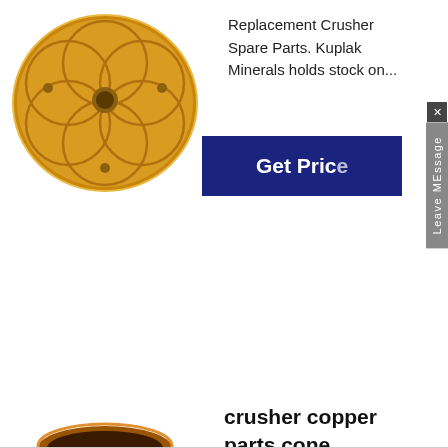[Figure (photo): Top-view of a round copper/bronze crusher spare part disc with circular pattern and central hole]
Replacement Crusher Spare Parts. Kuplak Minerals holds stock on...
[Figure (other): Blue 'Get Price' button (partially visible)]
[Figure (photo): Cylindrical copper/bronze crusher bushing with holes near bottom]
crusher copper parts,cone crusher bronze copper parts
[Figure (other): Blue circle with upward arrow icon]
copper-alloy casting for allis chalmers crusher; gunlach spare main fram...
[Figure (other): Blue 'Get Price' button]